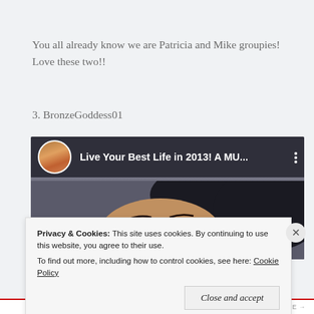You all already know we are Patricia and Mike groupies! Love these two!!
3. BronzeGoddess01
[Figure (screenshot): YouTube video thumbnail showing 'Live Your Best Life in 2013! A MU...' with a woman's face and a small circular avatar icon on the left]
Privacy & Cookies:  This site uses cookies. By continuing to use this website, you agree to their use.
To find out more, including how to control cookies, see here: Cookie Policy
Close and accept